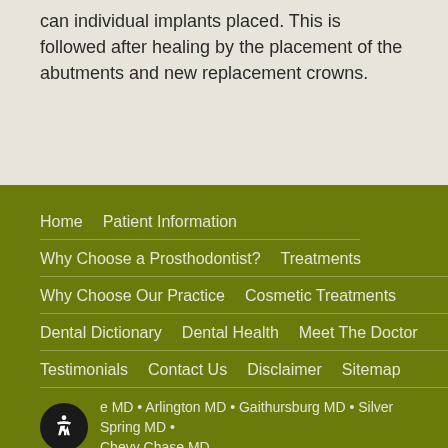can individual implants placed. This is followed after healing by the placement of the abutments and new replacement crowns.
Home   Patient Information
Why Choose a Prosthodontist?   Treatments
Why Choose Our Practice   Cosmetic Treatments
Dental Dictionary   Dental Health   Meet The Doctor
Testimonials   Contact Us   Disclaimer   Sitemap
e MD • Arlington MD • Gaithursburg MD • Silver Spring MD • Chevy Chase MD